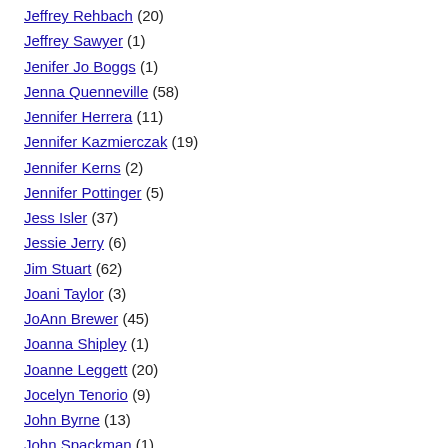Jeffrey Rehbach (20)
Jeffrey Sawyer (1)
Jenifer Jo Boggs (1)
Jenna Quenneville (58)
Jennifer Herrera (11)
Jennifer Kazmierczak (19)
Jennifer Kerns (2)
Jennifer Pottinger (5)
Jess Isler (37)
Jessie Jerry (6)
Jim Stuart (62)
Joani Taylor (3)
JoAnn Brewer (45)
Joanna Shipley (1)
Joanne Leggett (20)
Jocelyn Tenorio (9)
John Byrne (13)
John Spackman (1)